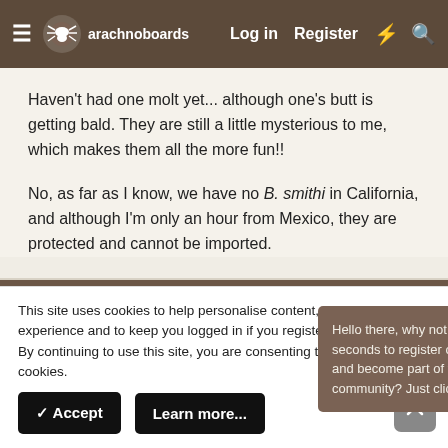arachnoboards  Log in  Register
Haven't had one molt yet... although one's butt is getting bald. They are still a little mysterious to me, which makes them all the more fun!!
No, as far as I know, we have no B. smithi in California, and although I'm only an hour from Mexico, they are protected and cannot be imported.
May 20, 2003
Hello there, why not take a few seconds to register on our forums and become part of the community? Just click here.
Brandon
Arachnobaron  Old Timer
This site uses cookies to help personalise content, tailor your experience and to keep you logged in if you register.
By continuing to use this site, you are consenting to our use of cookies.